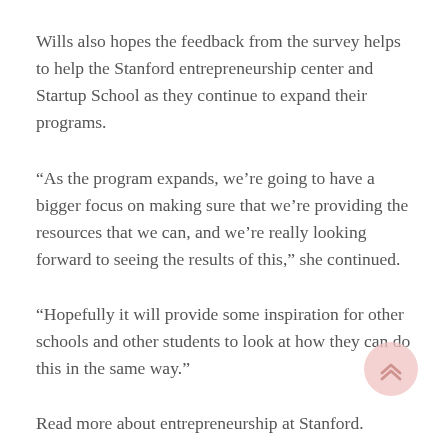Wills also hopes the feedback from the survey helps to help the Stanford entrepreneurship center and Startup School as they continue to expand their programs.
“As the program expands, we’re going to have a bigger focus on making sure that we’re providing the resources that we can, and we’re really looking forward to seeing the results of this,” she continued.
“Hopefully it will provide some inspiration for other schools and other students to look at how they can do this in the same way.”
Read more about entrepreneurship at Stanford.